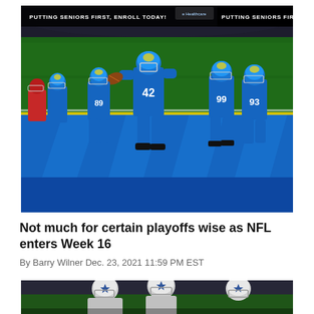[Figure (photo): Los Angeles Chargers players in blue uniforms on the football field, player #42 running with the ball during an NFL game. Scoreboard banners reading 'PUTTING SENIORS FIRST, ENROLL TODAY!' visible in background.]
Not much for certain playoffs wise as NFL enters Week 16
By Barry Wilner Dec. 23, 2021 11:59 PM EST
[Figure (photo): NFL players in Dallas Cowboys white helmets during a game.]